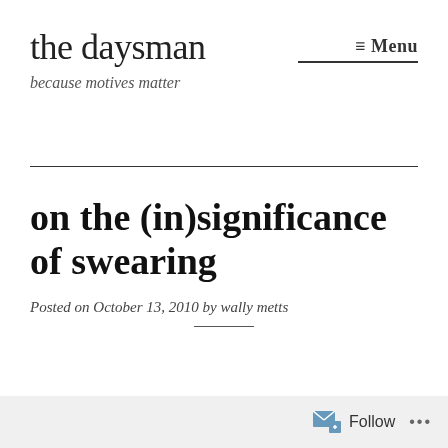the daysman
because motives matter
≡ Menu
on the (in)significance of swearing
Posted on October 13, 2010 by wally metts
Follow ...